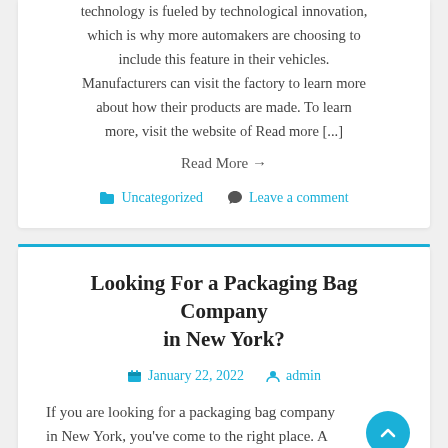technology is fueled by technological innovation, which is why more automakers are choosing to include this feature in their vehicles. Manufacturers can visit the factory to learn more about how their products are made. To learn more, visit the website of Read more [...]
Read More →
Uncategorized   Leave a comment
Looking For a Packaging Bag Company in New York?
January 22, 2022   admin
If you are looking for a packaging bag company in New York, you've come to the right place. A